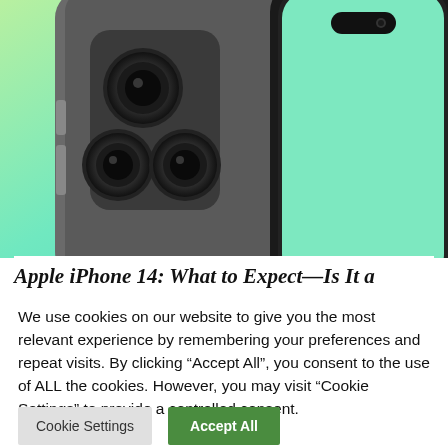[Figure (photo): iPhone 14 product render showing the back with triple camera system on the left and front face with Dynamic Island cutout on the right, set against a green-to-yellow gradient background.]
Apple iPhone 14: What to Expect—Is It a
We use cookies on our website to give you the most relevant experience by remembering your preferences and repeat visits. By clicking “Accept All”, you consent to the use of ALL the cookies. However, you may visit “Cookie Settings” to provide a controlled consent.
Cookie Settings | Accept All